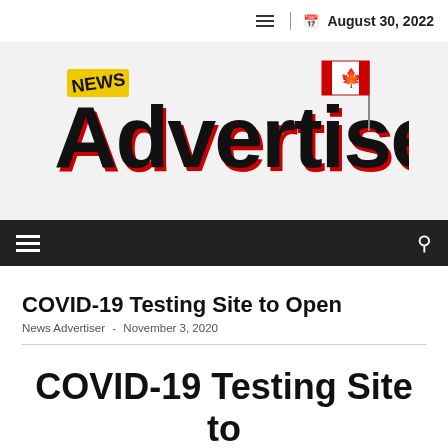August 30, 2022
[Figure (logo): News Advertiser logo with Canadian flag]
COVID-19 Testing Site to Open
News Advertiser - November 3, 2020
COVID-19 Testing Site to Open